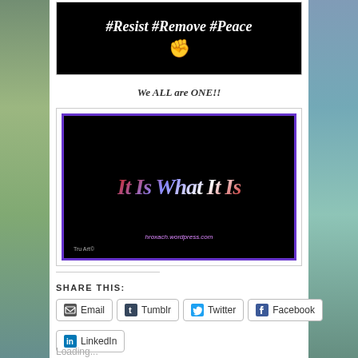[Figure (illustration): Black background image with white italic bold text '#Resist #Remove #Peace' and a raised fist emoji below]
We ALL are ONE!!
[Figure (illustration): Black background image with colorful patriotic-styled text 'It Is What It Is' with purple border, URL hroxach.wordpress.com and credit 'Tru Art©']
SHARE THIS:
Email
Tumblr
Twitter
Facebook
LinkedIn
Loading...